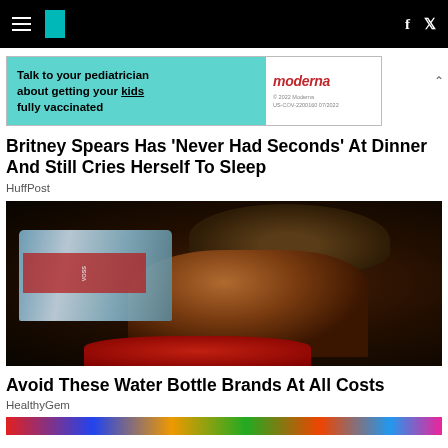HuffPost navigation bar with hamburger menu, logo, Facebook and Twitter icons
[Figure (other): Advertisement banner: Talk to your pediatrician about getting your kids fully vaccinated | Moderna logo]
Britney Spears Has 'Never Had Seconds' At Dinner And Still Cries Herself To Sleep
HuffPost
[Figure (photo): Person in dark cap drinking from a water bottle against a dark background]
Avoid These Water Bottle Brands At All Costs
HealthyGem